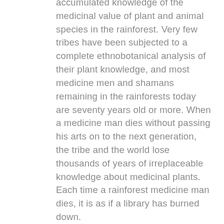accumulated knowledge of the medicinal value of plant and animal species in the rainforest. Very few tribes have been subjected to a complete ethnobotanical analysis of their plant knowledge, and most medicine men and shamans remaining in the rainforests today are seventy years old or more. When a medicine man dies without passing his arts on to the next generation, the tribe and the world lose thousands of years of irreplaceable knowledge about medicinal plants. Each time a rainforest medicine man dies, it is as if a library has burned down.